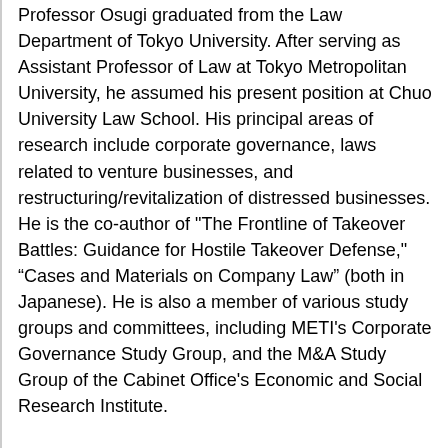Professor Osugi graduated from the Law Department of Tokyo University. After serving as Assistant Professor of Law at Tokyo Metropolitan University, he assumed his present position at Chuo University Law School. His principal areas of research include corporate governance, laws related to venture businesses, and restructuring/revitalization of distressed businesses. He is the co-author of "The Frontline of Takeover Battles: Guidance for Hostile Takeover Defense," “Cases and Materials on Company Law” (both in Japanese). He is also a member of various study groups and committees, including METI's Corporate Governance Study Group, and the M&A Study Group of the Cabinet Office's Economic and Social Research Institute.
Nicholas Benes
Representative Director, The Board Director Training Institute of Jpaan
President and Representative Director, JTP Corporation
Mr. Benes received his B.A. in political science from